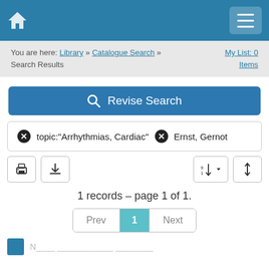Navigation bar with home icon and menu button
You are here: Library » Catalogue Search » Search Results   My List: 0 Items
Revise Search
✕ topic:"Arrhythmias, Cardiac"  ✕ Ernst, Gernot
1 records – page 1 of 1.
Prev  1  Next